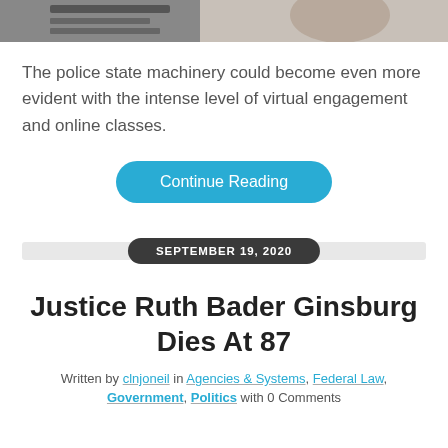[Figure (photo): Partial top image showing a laptop keyboard and a person in the background]
The police state machinery could become even more evident with the intense level of virtual engagement and online classes.
Continue Reading
SEPTEMBER 19, 2020
Justice Ruth Bader Ginsburg Dies At 87
Written by clnjoneil in Agencies & Systems, Federal Law, Government, Politics with 0 Comments